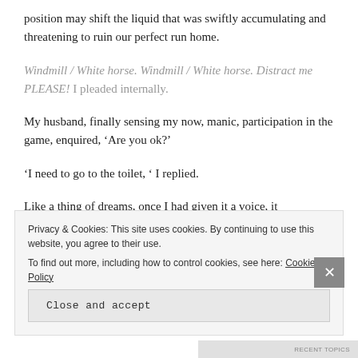position may shift the liquid that was swiftly accumulating and threatening to ruin our perfect run home.
Windmill / White horse. Windmill / White horse. Distract me PLEASE! I pleaded internally.
My husband, finally sensing my now, manic, participation in the game, enquired, ‘Are you ok?’
‘I need to go to the toilet, ‘ I replied.
Like a thing of dreams, once I had given it a voice, it
Privacy & Cookies: This site uses cookies. By continuing to use this website, you agree to their use. To find out more, including how to control cookies, see here: Cookie Policy
Close and accept
RECENT TOPICS